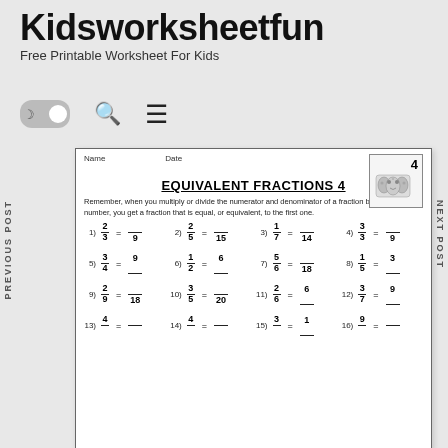Kidsworksheetfun
Free Printable Worksheet For Kids
[Figure (screenshot): Website navigation bar with dark mode toggle, search icon, and hamburger menu icon]
PREVIOUS POST
NEXT POST
| Name | Date |
| --- | --- |
EQUIVALENT FRACTIONS 4
Remember, when you multiply or divide the numerator and denominator of fraction by the same number, you get a fraction that is equal, or equivalent, to the first one.
1) 2/3 = __/9
2) 2/5 = __/15
3) 1/7 = __/14
4) 3/3 = __/9
5) 3/4 = 9/__
6) 1/2 = 6/__
7) 5/6 = __/18
8) 1/5 = 3/__
9) 2/9 = __/18
10) 3/5 = __/20
11) 2/6 = 6/__
12) 3/7 = 9/__
13) 4/__ = __
14) 4/__ = __
15) 3/__ = 1/__
16) 9/__ = __